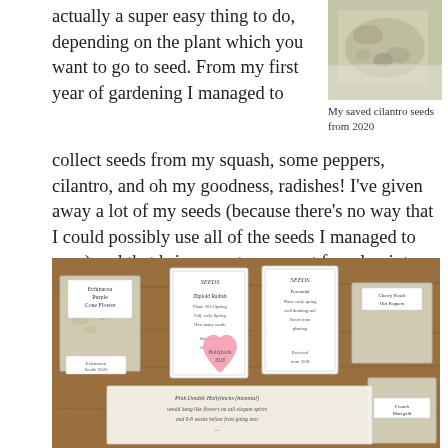actually a super easy thing to do, depending on the plant which you want to go to seed. From my first year of gardening I managed to collect seeds from my squash, some peppers, cilantro, and oh my goodness, radishes! I've given away a lot of my seeds (because there's no way that I could possibly use all of the seeds I managed to save) and that brings me to my next frugal point...
[Figure (photo): Close-up photo of saved cilantro seeds in a cloth or bag]
My saved cilantro seeds from 2020
[Figure (photo): Photo of multiple labeled seed packets and bags on a wooden table with handwritten labels including Echinacea Purple Cone Flower, Seeds, Diploid Radish, Hollyhock 2020, Cherry Peach Hot Peppers, French Marigold, and Double Hollyhocks handwritten seed packet info]